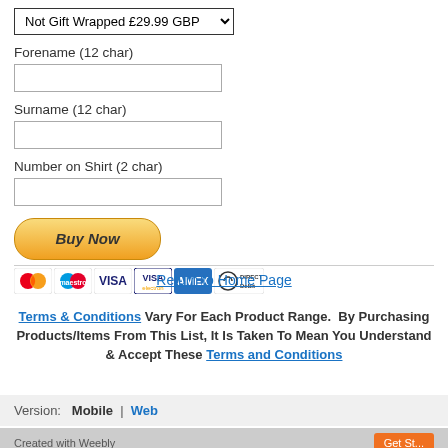[Figure (screenshot): Dropdown select showing 'Not Gift Wrapped £29.99 GBP' with a down arrow]
Forename (12 char)
[Figure (screenshot): Text input field for Forename]
Surname (12 char)
[Figure (screenshot): Text input field for Surname]
Number on Shirt (2 char)
[Figure (screenshot): Text input field for Number on Shirt]
[Figure (screenshot): Buy Now PayPal button (gold/orange gradient) with payment card icons below: Mastercard, Maestro, Visa, Visa Electron, American Express, Direct Debit]
Return to Home Page
Terms & Conditions Vary For Each Product Range. By Purchasing Products/Items From This List, It Is Taken To Mean You Understand & Accept These Terms and Conditions
Version: Mobile | Web
Created with Weebly